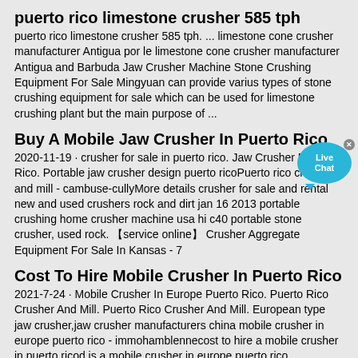puerto rico limestone crusher 585 tph
puerto rico limestone crusher 585 tph. ... limestone cone crusher manufacturer Antigua por le limestone cone crusher manufacturer Antigua and Barbuda Jaw Crusher Machine Stone Crushing Equipment For Sale Mingyuan can provide varius types of stone crushing equipment for sale which can be used for limestone crushing plant but the main purpose of ...
Buy A Mobile Jaw Crusher In Puerto Rico
2020-11-19 · crusher for sale in puerto rico. Jaw Crusher Puerto Rico. Portable jaw crusher design puerto ricoPuerto rico crusher and mill - cambuse-cullyMore details crusher for sale and rental new and used crushers rock and dirt jan 16 2013 portable crushing home crusher machine usa hi c40 portable stone crusher, used rock. 【service online】 Crusher Aggregate Equipment For Sale In Kansas - 7
Cost To Hire Mobile Crusher In Puerto Rico
2021-7-24 · Mobile Crusher In Europe Puerto Rico. Puerto Rico Crusher And Mill. Puerto Rico Crusher And Mill. European type jaw crusher,jaw crusher manufacturers china mobile crusher in europe puerto rico - immohamblennecost to hire a mobile crusher in puerto ricod is a mobile crusher in europe puerto rico bluegrassmd mobile puerto rico island car rental expedia travel 20170802 travel the world ...